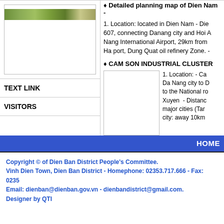♦ Detailed planning map of Dien Nam -
1. Location: located in Dien Nam - Dien 607, connecting Danang city and Hoi An Nang International Airport, 29km from T Ha port, Dung Quat oil refinery Zone. - T
[Figure (photo): Map image with greenery strip at top]
TEXT LINK
VISITORS
♦ CAM SON INDUSTRIAL CLUSTER
[Figure (photo): Cam Son industrial cluster image placeholder]
1. Location: - Ca Da Nang city to D to the National ro Xuyen - Distanc major cities (Tan city: away 10km
HOME
Copyright © of Dien Ban District People's Committee.
Vinh Dien Town, Dien Ban District - Homephone: 02353.717.666 - Fax: 0235
Email: dienban@dienban.gov.vn - dienbandistrict@gmail.com.
Designer by QTI